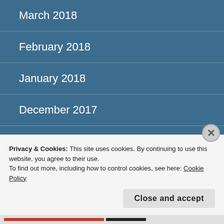March 2018
February 2018
January 2018
December 2017
November 2017
October 2017
September 2017
Privacy & Cookies: This site uses cookies. By continuing to use this website, you agree to their use.
To find out more, including how to control cookies, see here: Cookie Policy
Close and accept